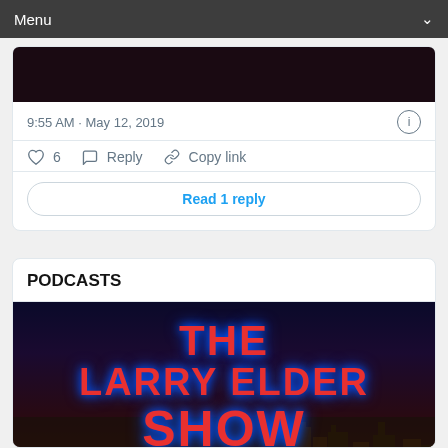Menu
[Figure (screenshot): Dark reddish-black image at top of tweet card]
9:55 AM · May 12, 2019
♡ 6   Reply   Copy link
Read 1 reply
PODCASTS
[Figure (photo): The Larry Elder Show podcast cover image with red neon text on dark city skyline background reading THE LARRY ELDER SHOW]